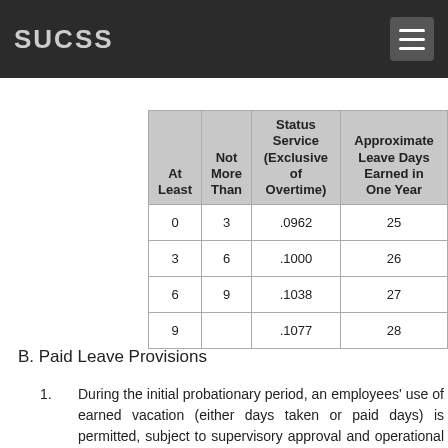SUCSS
| At Least | Not More Than | Status Service (Exclusive of Overtime) | Approximate Leave Days Earned in One Year |
| --- | --- | --- | --- |
| 0 | 3 | .0962 | 25 |
| 3 | 6 | .1000 | 26 |
| 6 | 9 | .1038 | 27 |
| 9 |  | .1077 | 28 |
B. Paid Leave Provisions
During the initial probationary period, an employees' use of earned vacation (either days taken or paid days) is permitted, subject to supervisory approval and operational needs. If separation occurs during the probationary